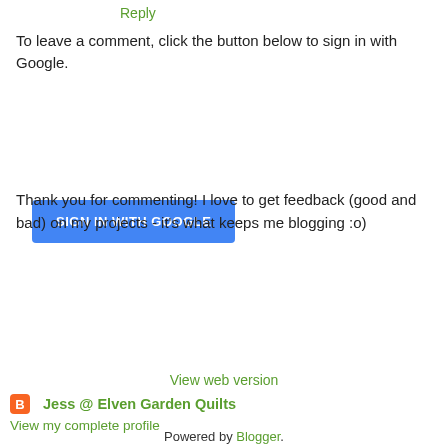Reply
To leave a comment, click the button below to sign in with Google.
[Figure (other): Blue 'SIGN IN WITH GOOGLE' button]
Thank you for commenting! I love to get feedback (good and bad) on my projects - it's what keeps me blogging :o)
[Figure (other): Navigation bar with left arrow button, Home button, and right arrow button]
View web version
Jess @ Elven Garden Quilts
View my complete profile
Powered by Blogger.